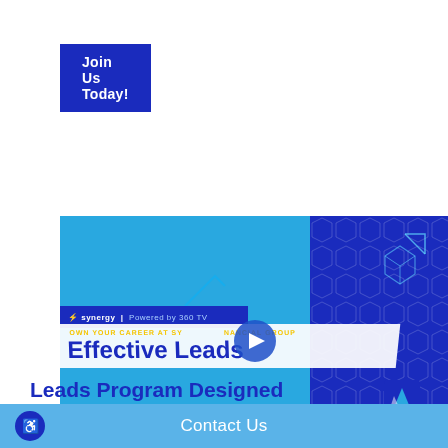Join Us Today!
[Figure (screenshot): Video player thumbnail showing 'OWN YOUR CAREER AT SYNERGY FINANCIAL GROUP – Effective Leads' with a play button overlay, progress bar showing 2:13, on a blue background with dark blue geometric hexagon pattern in the top right corner.]
Leads Program Designed
Contact Us